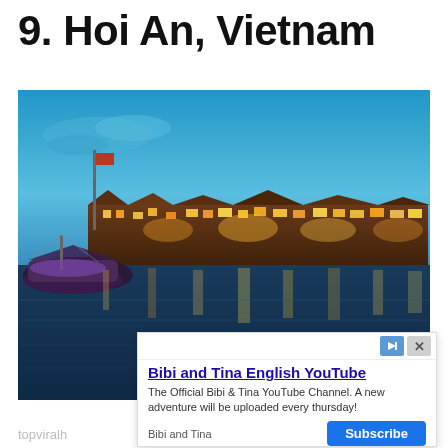9. Hoi An, Vietnam
[Figure (photo): Night photo of Hoi An Ancient Town waterfront, Vietnam. Warm glowing lights from traditional shophouses reflect on the calm river. Wooden boats moored in the foreground. Deep blue twilight sky above.]
Bibi and Tina English YouTube
The Official Bibi & Tina YouTube Channel. A new adventure will be uploaded every thursday!
Bibi and Tina  Subscribe
topviralh